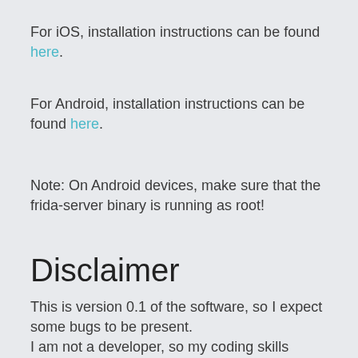For iOS, installation instructions can be found here.
For Android, installation instructions can be found here.
Note: On Android devices, make sure that the frida-server binary is running as root!
Disclaimer
This is version 0.1 of the software, so I expect some bugs to be present.
I am not a developer, so my coding skills might not be the best.